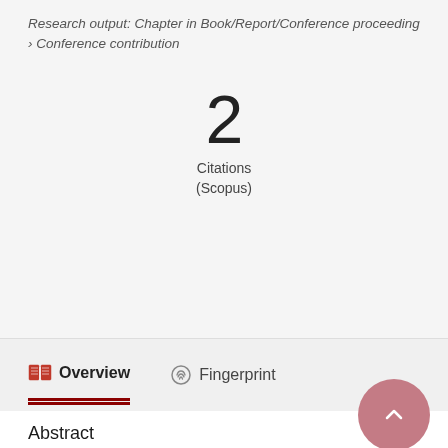Research output: Chapter in Book/Report/Conference proceeding › Conference contribution
2
Citations
(Scopus)
Overview   Fingerprint
Abstract